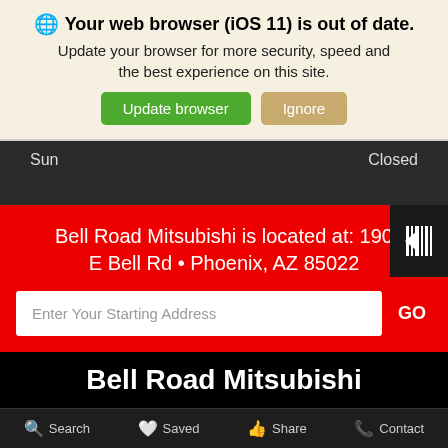🌐 Your web browser (iOS 11) is out of date. Update your browser for more security, speed and the best experience on this site.
Update browser | Ignore
| Day | Status |
| --- | --- |
| Sun | Closed |
Bell Road Mitsubishi is located at: 190... E Bell Rd • Phoenix, AZ 85022
Enter Your Starting Address GO
Bell Road Mitsubishi
Search  Saved  Share  Contact